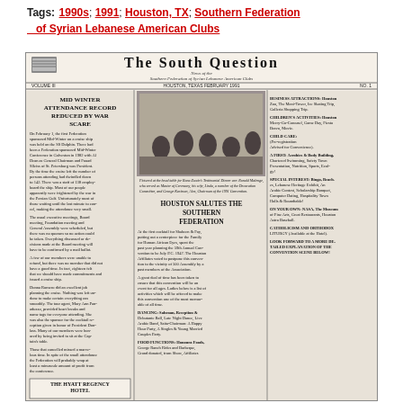Tags: 1990s; 1991; Houston, TX; Southern Federation of Syrian Lebanese American Clubs
[Figure (photo): Scanned newspaper page: 'The South Question', News of the Southern Federation of Syrian Lebanese American Clubs, Volume III, Houston Texas, February 1991, No. 1. Contains headlines: 'MID WINTER ATTENDANCE RECORD REDUCED BY WAR SCARE', 'HOUSTON SALUTES THE SOUTHERN FEDERATION', photo of people at head table for Rona Zwain's Testimonial Dinner, Hyatt Regency Hotel box ad, and columns of text about convention activities, dancing, food functions, and attractions.]